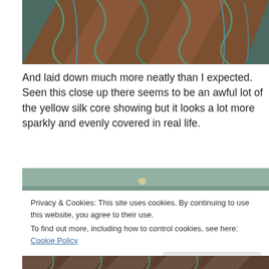[Figure (photo): Close-up photo of textile/embroidery showing brown fabric with green and teal thread stitching on a dark teal background]
And laid down much more neatly than I expected. Seen this close up there seems to be an awful lot of the yellow silk core showing but it looks a lot more sparkly and evenly covered in real life.
[Figure (photo): Close-up photo of textile partially visible behind cookie consent banner]
Privacy & Cookies: This site uses cookies. By continuing to use this website, you agree to their use.
To find out more, including how to control cookies, see here: Cookie Policy
[Figure (photo): Partial close-up of brown and green textile at bottom edge]